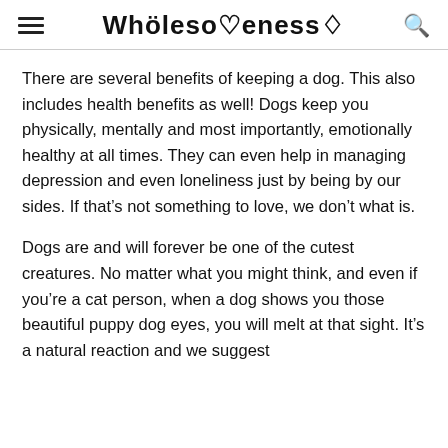WHOLESOMENESS
There are several benefits of keeping a dog. This also includes health benefits as well! Dogs keep you physically, mentally and most importantly, emotionally healthy at all times. They can even help in managing depression and even loneliness just by being by our sides. If that’s not something to love, we don’t what is.
Dogs are and will forever be one of the cutest creatures. No matter what you might think, and even if you’re a cat person, when a dog shows you those beautiful puppy dog eyes, you will melt at that sight. It’s a natural reaction and we suggest